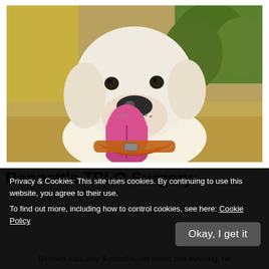[Figure (photo): Close-up photo of a young white/cream Labrador Retriever dog sitting outdoors on dry grass, mouth open and tongue hanging out, wearing an orange collar. Green bushes and a yellow wall visible in the background.]
Bennett's TPLO Surgery:
Privacy & Cookies: This site uses cookies. By continuing to use this website, you agree to their use. To find out more, including how to control cookies, see here: Cookie Policy
Bennett was only 6-months-old when one evening, he